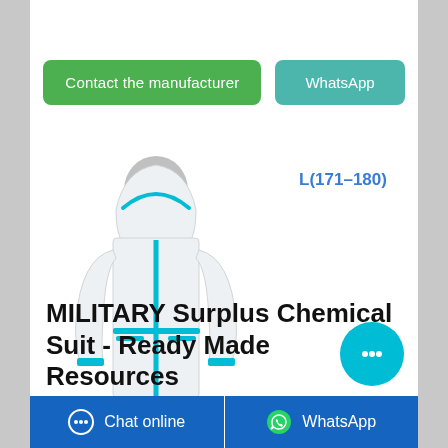[Figure (other): Two buttons: 'Contact the manufacturer' (green) and 'WhatsApp' (teal)]
[Figure (photo): White chemical/protective suit with teal/cyan trim and zipper, hooded, with size label L(171-180) in blue text]
MILITARY Surplus Chemical Suit - Ready Made Resources
[Figure (other): Bottom navigation bar with 'Chat online' on the left (dark blue) and 'WhatsApp' on the right (dark blue)]